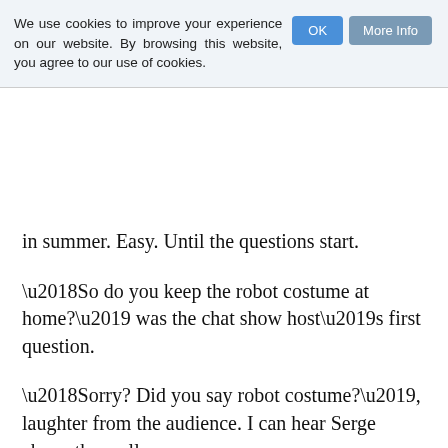We use cookies to improve your experience on our website. By browsing this website, you agree to our use of cookies.
in summer. Easy. Until the questions start.
‘So do you keep the robot costume at home?’ was the chat show host’s first question.
‘Sorry? Did you say robot costume?’, laughter from the audience. I can hear Serge above them all.
‘Yes, the gold suit. Do you get to keep it and wear it at home?’
The fellow looks earnest enough, his English is impeccable and I don’t sense he’s trying to get some kind of rise out of me. So I very politely ask him what he’s talking about, just as my eyes adjust to the studio lighting and I can finally make out the